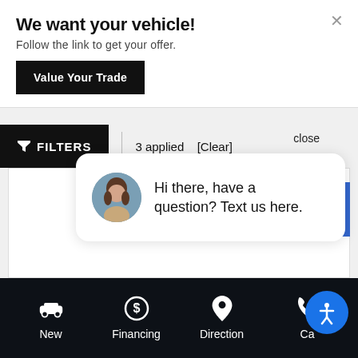We want your vehicle!
Follow the link to get your offer.
Value Your Trade
FILTERS  |  3 applied  [Clear]
close
Hi there, have a question? Text us here.
New
Financing
Direction
Ca